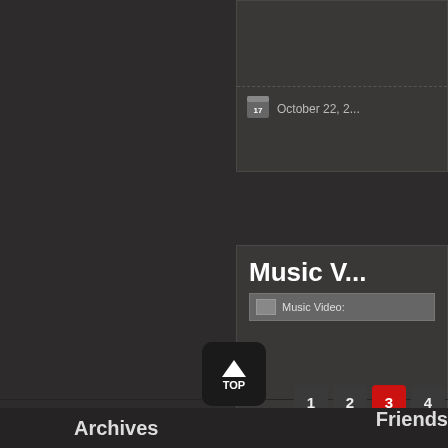October 22, 2...
Music V...
[Figure (screenshot): Music Video: broken image placeholder]
September 28,...
1
2
3 (active/current page)
4
[Figure (illustration): TOP button - upward arrow icon with 'TOP' text on dark rounded rectangle]
Archives    Friends